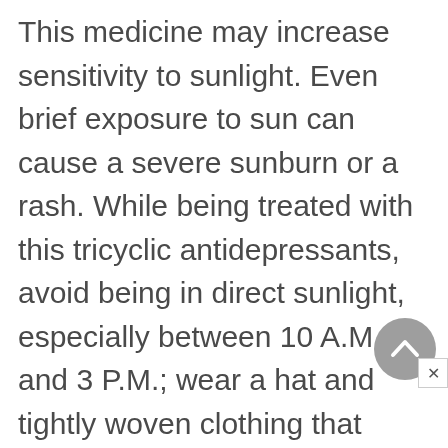This medicine may increase sensitivity to sunlight. Even brief exposure to sun can cause a severe sunburn or a rash. While being treated with this tricyclic antidepressants, avoid being in direct sunlight, especially between 10 A.M. and 3 P.M.; wear a hat and tightly woven clothing that covers the arms and legs; use a sunscreen with a skin protection factor (SPF) of at least 15; protect the lips with a sun block lipstick; and do not use tanning beds, tanning booths, or sunlamps.